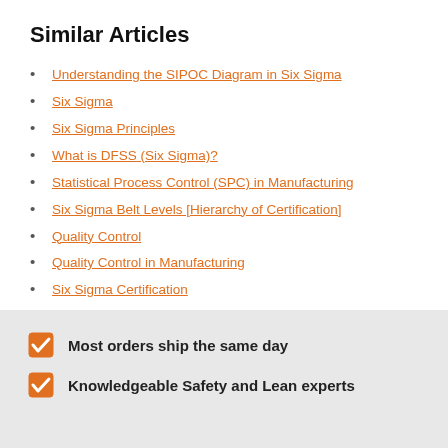Similar Articles
Understanding the SIPOC Diagram in Six Sigma
Six Sigma
Six Sigma Principles
What is DFSS (Six Sigma)?
Statistical Process Control (SPC) in Manufacturing
Six Sigma Belt Levels [Hierarchy of Certification]
Quality Control
Quality Control in Manufacturing
Six Sigma Certification
Most orders ship the same day
Knowledgeable Safety and Lean experts